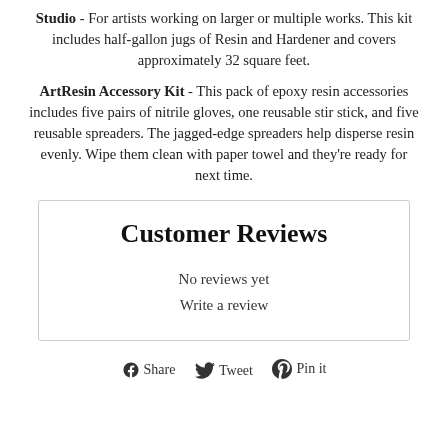Studio - For artists working on larger or multiple works. This kit includes half-gallon jugs of Resin and Hardener and covers approximately 32 square feet.
ArtResin Accessory Kit - This pack of epoxy resin accessories includes five pairs of nitrile gloves, one reusable stir stick, and five reusable spreaders. The jagged-edge spreaders help disperse resin evenly. Wipe them clean with paper towel and they're ready for next time.
Customer Reviews
No reviews yet
Write a review
Share  Tweet  Pin it